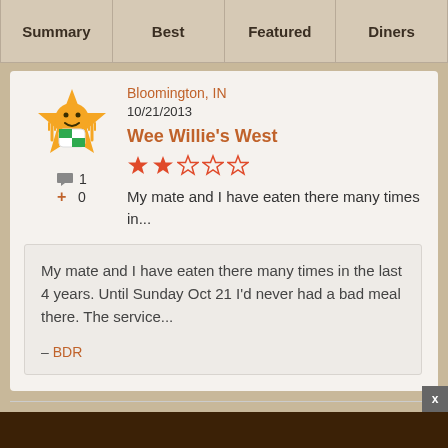Summary | Best | Featured | Diners
Bloomington, IN
10/21/2013
Wee Willie's West
My mate and I have eaten there many times in...
My mate and I have eaten there many times in the last 4 years. Until Sunday Oct 21 I'd never had a bad meal there. The service...
— BDR